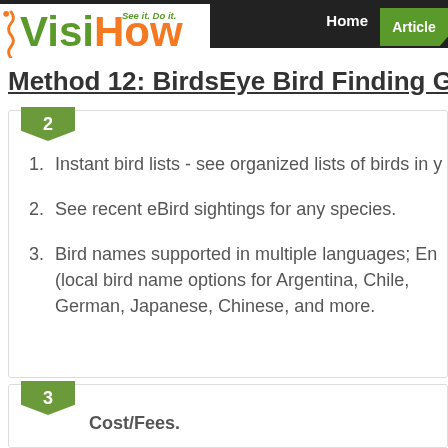[Figure (logo): VisiHow logo with tagline 'See it. Do it.' in green and orange colors]
Home | Articles
Method 12: BirdsEye Bird Finding G
1. Instant bird lists - see organized lists of birds in y
2. See recent eBird sightings for any species.
3. Bird names supported in multiple languages; En (local bird name options for Argentina, Chile, German, Japanese, Chinese, and more.
Cost/Fees.